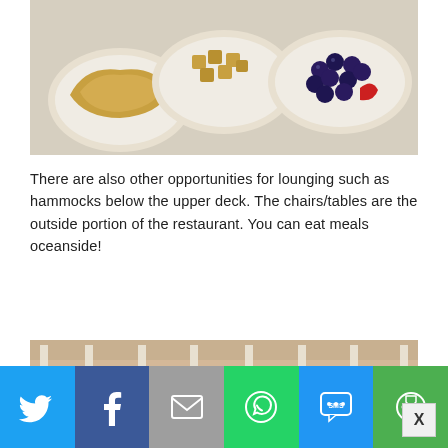[Figure (photo): Three white bowls on a table: left bowl with an omelette or pastry, center bowl with croutons or bread cubes, right bowl with blueberries and a strawberry.]
There are also other opportunities for lounging such as hammocks below the upper deck. The chairs/tables are the outside portion of the restaurant. You can eat meals oceanside!
[Figure (photo): Exterior view of a multi-story building with a covered porch/deck area. The lower level has a green awning with hammocks and rocking chairs underneath. The upper level has a railed deck. Steps visible on the right side.]